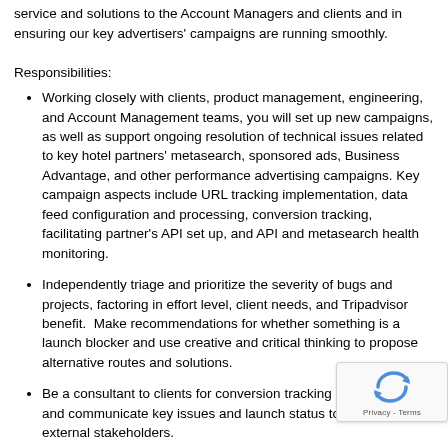service and solutions to the Account Managers and clients and in ensuring our key advertisers' campaigns are running smoothly.
Responsibilities:
Working closely with clients, product management, engineering, and Account Management teams, you will set up new campaigns, as well as support ongoing resolution of technical issues related to key hotel partners' metasearch, sponsored ads, Business Advantage, and other performance advertising campaigns. Key campaign aspects include URL tracking implementation, data feed configuration and processing, conversion tracking, facilitating partner's API set up, and API and metasearch health monitoring.
Independently triage and prioritize the severity of bugs and projects, factoring in effort level, client needs, and Tripadvisor benefit.  Make recommendations for whether something is a launch blocker and use creative and critical thinking to propose alternative routes and solutions.
Be a consultant to clients for conversion tracking implementation and communicate key issues and launch status to internal and external stakeholders.